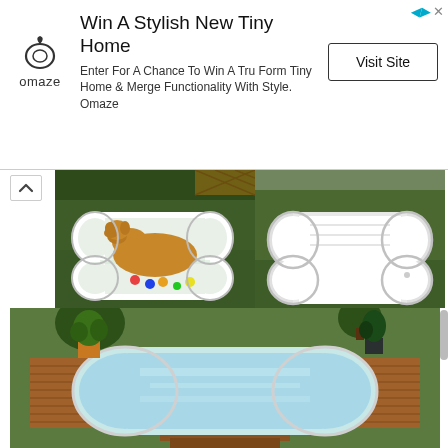[Figure (other): Omaze advertisement banner: logo on left, title 'Win A Stylish New Tiny Home', body text 'Enter For A Chance To Win A Tru Form Tiny Home & Merge Functionality With Style. Omaze', and 'Visit Site' button on right.]
[Figure (photo): Top-left photo: a golden retriever dog lying in a bone-shaped white plastic pool on green grass, with colorful balls in the water.]
[Figure (photo): Top-right photo: an empty bone-shaped white plastic pool on green grass, showing the pool's interior ridges.]
[Figure (photo): Bottom photo: a bone-shaped pool filled with water, set into a wooden deck/platform with steps, surrounded by potted plants on green grass.]